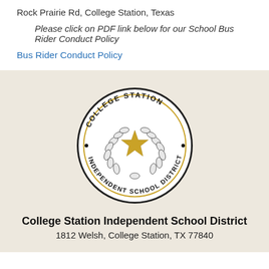Rock Prairie Rd, College Station, Texas
Please click on PDF link below for our School Bus Rider Conduct Policy
Bus Rider Conduct Policy
[Figure (logo): College Station Independent School District official seal with laurel wreath and gold star in the center, circular text reading COLLEGE STATION INDEPENDENT SCHOOL DISTRICT]
College Station Independent School District
1812 Welsh, College Station, TX 77840